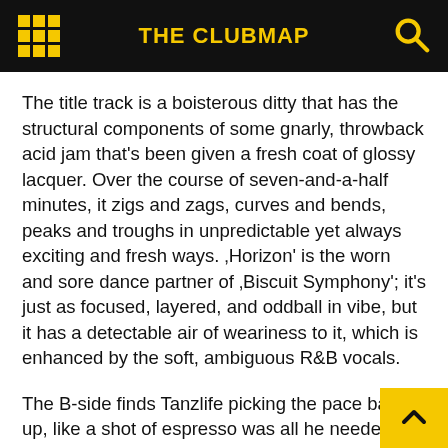THE CLUBMAP
The title track is a boisterous ditty that has the structural components of some gnarly, throwback acid jam that's been given a fresh coat of glossy lacquer. Over the course of seven-and-a-half minutes, it zigs and zags, curves and bends, peaks and troughs in unpredictable yet always exciting and fresh ways. ‚Horizon' is the worn and sore dance partner of ‚Biscuit Symphony'; it's just as focused, layered, and oddball in vibe, but it has a detectable air of weariness to it, which is enhanced by the soft, ambiguous R&B vocals.
The B-side finds Tanzlife picking the pace back up, like a shot of espresso was all he needed. Flush with cartoony noises and frazzled strings, and glued together with hooky synth melodies, ‚Raw Orange' is a fiery little nugget of fun. With its followup, ‚Talizman' (hard to not consider it the producer's unofficial theme song), Tanzlife simplifies a bit, but doesn't compromise quality, energy level, or digestibility th…